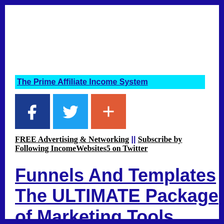[Figure (other): Cyan banner bar with bold underlined blue text partially visible: 'The Prime Affiliate Income System']
[Figure (other): Three social sharing buttons: Facebook (dark blue with f icon), Twitter (light blue with bird icon), and a red/orange plus button]
FREE Advertising & Networking || Subscribe by Following IncomeWebsites5 on Twitter
Funnels And Templates The ULTIMATE Package of Marketing Tools Funnels #Funnels How to and Systems to Make Money